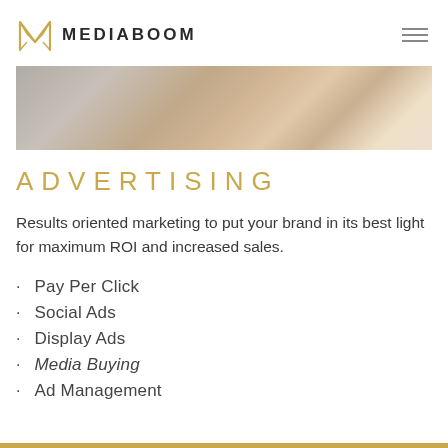MEDIABOOM
[Figure (photo): Close-up photo of a person's hand typing on a laptop keyboard, with a watch visible on their wrist]
ADVERTISING
Results oriented marketing to put your brand in its best light for maximum ROI and increased sales.
Pay Per Click
Social Ads
Display Ads
Media Buying
Ad Management